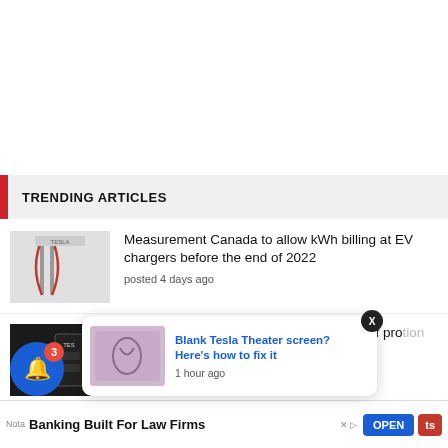TRENDING ARTICLES
Measurement Canada to allow kWh billing at EV chargers before the end of 2022
posted 4 days ago
Tesla issuing $200 promo codes instead of pro...
posted ...
[Figure (screenshot): Push notification popup: Blank Tesla Theater screen? Here's how to fix it — 1 hour ago]
Blank Tesla Theater screen? Here's how to fix it
1 hour ago
Nota Banking Built For Law Firms
OPEN